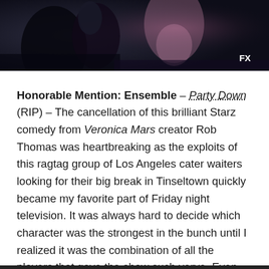[Figure (photo): Dark photograph showing adults and a child, with 'FX' watermark in lower right corner]
Honorable Mention: Ensemble – Party Down (RIP) – The cancellation of this brilliant Starz comedy from Veronica Mars creator Rob Thomas was heartbreaking as the exploits of this ragtag group of Los Angeles cater waiters looking for their big break in Tinseltown quickly became my favorite part of Friday night television. It was always hard to decide which character was the strongest in the bunch until I realized it was the combination of all the players that gave the show such verve. Even with the small cast change between its first and second year (losing Jane Lynch but gaining Megan Mullally!) everyone congealed in a way that made this series shoot to the top of my Brilliant But Cancelled list.